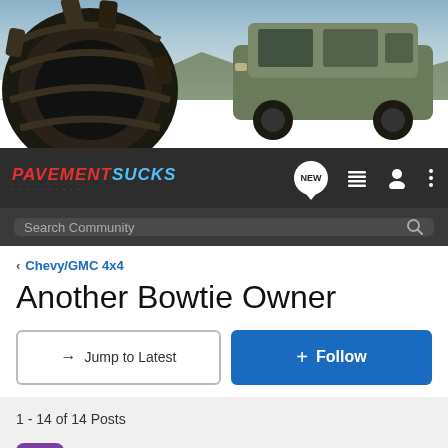[Figure (photo): Off-road vehicle banner image showing a large tire on rocks on the left and a military-style 4x4 SUV on the right against a mountain/sky background]
PavementSucks | NEW | menu | user | more options | Search Community
< Chevy/GMC 4x4
Another Bowtie Owner
→ Jump to Latest | + Follow
1 - 14 of 14 Posts
blaircsf · Registered
Joined Jan 13, 2002 · 121 Posts